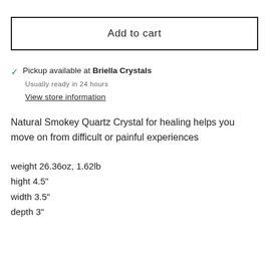Add to cart
✓ Pickup available at Briella Crystals
Usually ready in 24 hours
View store information
Natural Smokey Quartz Crystal for healing helps you move on from difficult or painful experiences
weight 26.36oz, 1.62lb
hight 4.5"
width 3.5"
depth 3"